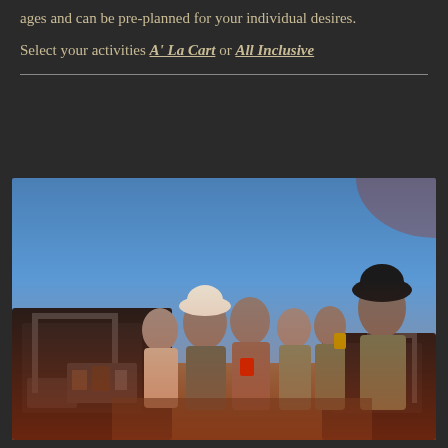ages and can be pre-planned for your individual desires.
Select your activities A' La Cart or All Inclusive
[Figure (photo): Group of five people in camouflage and cowboy hats posing outdoors at dusk near UTVs/ATVs, holding red cups, with a clear blue sky background]